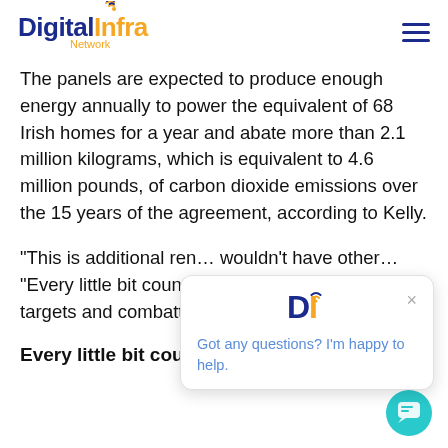Digital Infra Network
The panels are expected to produce enough energy annually to power the equivalent of 68 Irish homes for a year and abate more than 2.1 million kilograms, which is equivalent to 4.6 million pounds, of carbon dioxide emissions over the 15 years of the agreement, according to Kelly.
“This is additional re… wouldn’t have other… “Every little bit coun… meeting our sustainability targets and combatting climate change.”
Every little bit counts